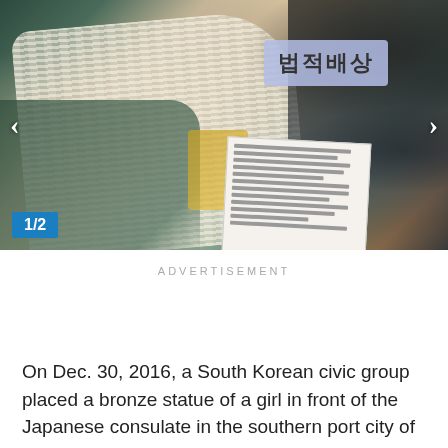[Figure (photo): A protest scene showing people bundled in winter clothing including a large knitted cream/white blanket wrap. A sign with Korean text '법적배상' (legal compensation) is visible in the upper right. Someone holds a document/paper. Navigation arrows are on left and right sides. A blue badge showing '1/2' is in the lower left corner.]
ADVERTISEMENT
On Dec. 30, 2016, a South Korean civic group placed a bronze statue of a girl in front of the Japanese consulate in the southern port city of Busan. It commemorates as many as 200,000 enslaved military prostitutes, known as "comfort women,"